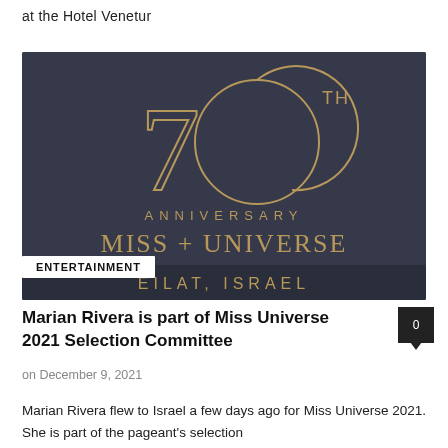at the Hotel Venetur
[Figure (logo): Miss Universe 70th Anniversary logo on dark navy background with text ANNIVERSARY MISS + UNIVERSE EILAT, ISRAEL]
ENTERTAINMENT
Marian Rivera is part of Miss Universe 2021 Selection Committee
on December 9, 2021
Marian Rivera flew to Israel a few days ago for Miss Universe 2021. She is part of the pageant's selection